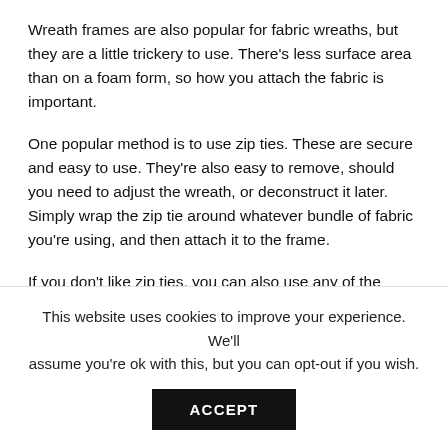Wreath frames are also popular for fabric wreaths, but they are a little trickery to use. There's less surface area than on a foam form, so how you attach the fabric is important.
One popular method is to use zip ties. These are secure and easy to use. They're also easy to remove, should you need to adjust the wreath, or deconstruct it later. Simply wrap the zip tie around whatever bundle of fabric you're using, and then attach it to the frame.
If you don't like zip ties, you can also use any of the other means used to attach decorations to wreaths. Just make
This website uses cookies to improve your experience. We'll assume you're ok with this, but you can opt-out if you wish.
ACCEPT